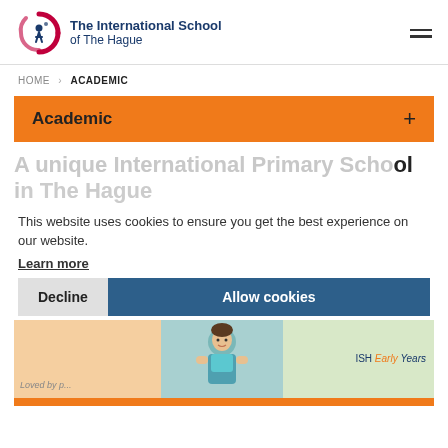[Figure (logo): The International School of The Hague logo with circular icon and text]
HOME > ACADEMIC
Academic +
A unique International Primary School in The Hague
This website uses cookies to ensure you get the best experience on our website.
Learn more
Decline
Allow cookies
[Figure (photo): Bottom image strip with three panels: peach/orange left panel with 'Loved by...' text, center photo of child, right green panel with 'ISH Early Years' text]